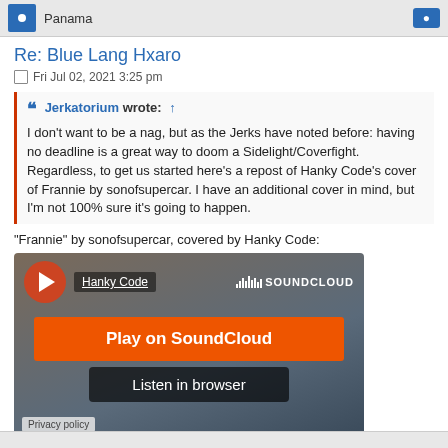Panama
Re: Blue Lang Hxaro
Fri Jul 02, 2021 3:25 pm
Jerkatorium wrote: ↑
I don't want to be a nag, but as the Jerks have noted before: having no deadline is a great way to doom a Sidelight/Coverfight. Regardless, to get us started here's a repost of Hanky Code's cover of Frannie by sonofsupercar. I have an additional cover in mind, but I'm not 100% sure it's going to happen.
“Frannie” by sonofsupercar, covered by Hanky Code:
[Figure (screenshot): SoundCloud embed widget showing 'Hanky Code' track with orange 'Play on SoundCloud' button and dark 'Listen in browser' button]
this is great! <3